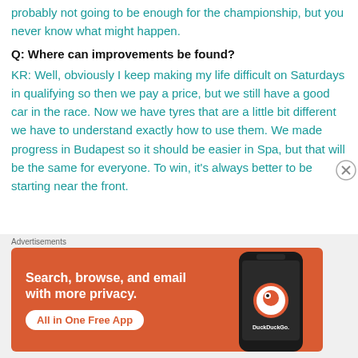probably not going to be enough for the championship, but you never know what might happen.
Q: Where can improvements be found?
KR: Well, obviously I keep making my life difficult on Saturdays in qualifying so then we pay a price, but we still have a good car in the race. Now we have tyres that are a little bit different we have to understand exactly how to use them. We made progress in Budapest so it should be easier in Spa, but that will be the same for everyone. To win, it's always better to be starting near the front.
Advertisements
[Figure (screenshot): DuckDuckGo advertisement banner with orange background showing 'Search, browse, and email with more privacy. All in One Free App' text and a phone image with DuckDuckGo logo.]